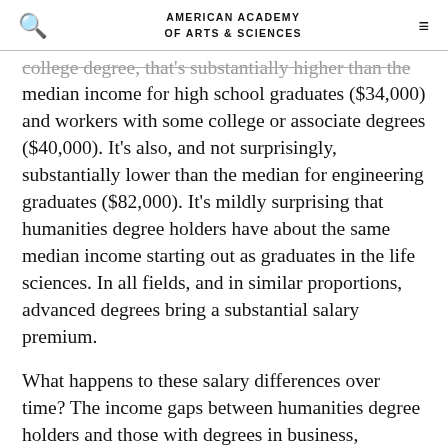AMERICAN ACADEMY OF ARTS & SCIENCES
college degree, that's substantially higher than the median income for high school graduates ($34,000) and workers with some college or associate degrees ($40,000). It's also, and not surprisingly, substantially lower than the median for engineering graduates ($82,000). It's mildly surprising that humanities degree holders have about the same median income starting out as graduates in the life sciences. In all fields, and in similar proportions, advanced degrees bring a substantial salary premium.
What happens to these salary differences over time? The income gaps between humanities degree holders and those with degrees in business, engineering, health and medical sciences, and social sciences close substantially, while a gap with the life